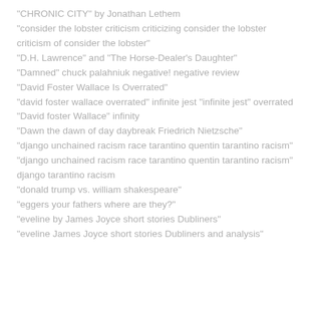"CHRONIC CITY" by Jonathan Lethem
"consider the lobster criticism criticizing consider the lobster criticism of consider the lobster"
"D.H. Lawrence" and "The Horse-Dealer's Daughter"
"Damned" chuck palahniuk negative! negative review
"David Foster Wallace Is Overrated"
"david foster wallace overrated" infinite jest "infinite jest" overrated
"David foster Wallace" infinity
"Dawn the dawn of day daybreak Friedrich Nietzsche"
"django unchained racism race tarantino quentin tarantino racism"
"django unchained racism race tarantino quentin tarantino racism" django tarantino racism
"donald trump vs. william shakespeare"
"eggers your fathers where are they?"
"eveline by James Joyce short stories Dubliners"
"eveline James Joyce short stories Dubliners and analysis"